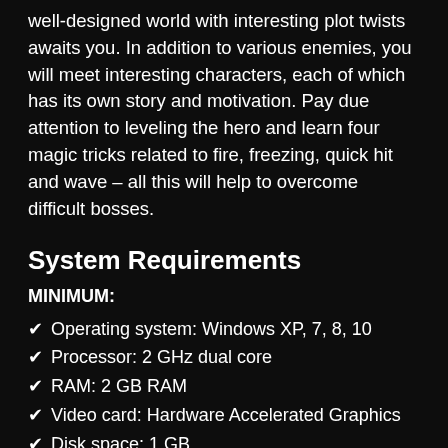well-designed world with interesting plot twists awaits you. In addition to various enemies, you will meet interesting characters, each of which has its own story and motivation. Pay due attention to leveling the hero and learn four magic tricks related to fire, freezing, quick hit and wave – all this will help to overcome difficult bosses.
System Requirements
MINIMUM:
Operating system: Windows XP, 7, 8, 10
Processor: 2 GHz dual core
RAM: 2 GB RAM
Video card: Hardware Accelerated Graphics
Disk space: 1 GB
How To Install The Game